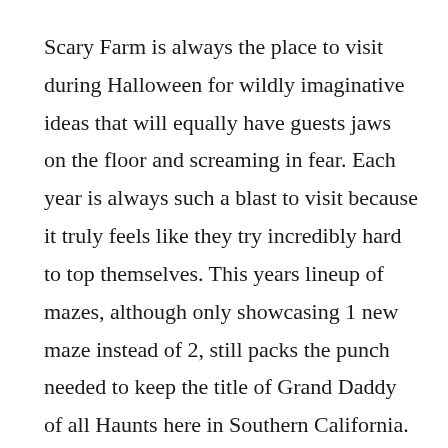Scary Farm is always the place to visit during Halloween for wildly imaginative ideas that will equally have guests jaws on the floor and screaming in fear. Each year is always such a blast to visit because it truly feels like they try incredibly hard to top themselves. This years lineup of mazes, although only showcasing 1 new maze instead of 2, still packs the punch needed to keep the title of Grand Daddy of all Haunts here in Southern California. There really isn't much to complain about, but one thing we noticed during our visit was the lack of actors in some mazes. From the perspective of a Haunt nerd, it's apparent when mazes are lacking actors. But we've even heard from guests that some of the mazes feel understaffed, and they are